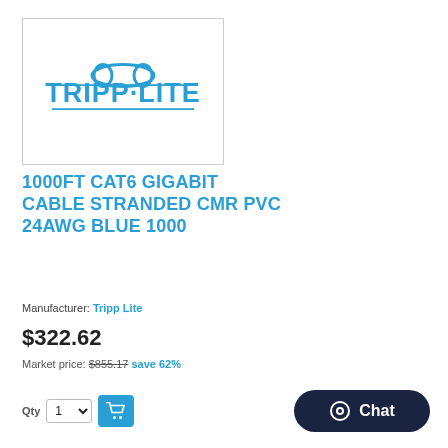[Figure (logo): Tripp Lite logo in blue with circle/oval design element and bold text TRIPP·LITE]
1000FT CAT6 GIGABIT CABLE STRANDED CMR PVC 24AWG BLUE 1000
Manufacturer: Tripp Lite
$322.62
Market price: $855.17 save 62%